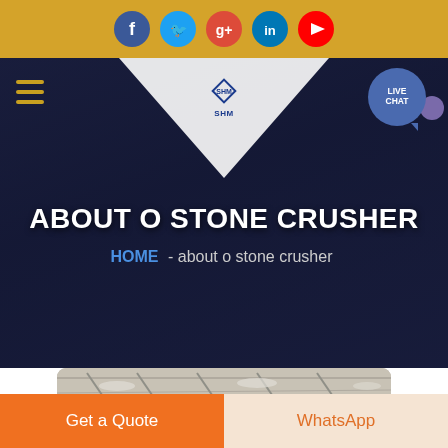Social media icons: Facebook, Twitter, Google+, LinkedIn, YouTube
[Figure (screenshot): Website header with SHM logo, hamburger menu, live chat bubble, dark navy hero background with working hands photo, white pennant shape]
ABOUT O STONE CRUSHER
HOME  -  about o stone crusher
[Figure (photo): Industrial warehouse/factory interior with steel roof trusses and lighting]
Get a Quote
WhatsApp